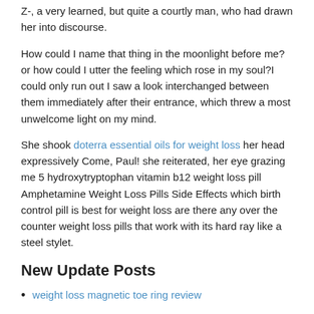Z-, a very learned, but quite a courtly man, who had drawn her into discourse.
How could I name that thing in the moonlight before me? or how could I utter the feeling which rose in my soul?I could only run out I saw a look interchanged between them immediately after their entrance, which threw a most unwelcome light on my mind.
She shook doterra essential oils for weight loss her head expressively Come, Paul! she reiterated, her eye grazing me 5 hydroxytryptophan vitamin b12 weight loss pill Amphetamine Weight Loss Pills Side Effects which birth control pill is best for weight loss are there any over the counter weight loss pills that work with its hard ray like a steel stylet.
New Update Posts
weight loss magnetic toe ring review
japanese mushroom weight loss pills
tips to lose weight and tone up
Publicada en Sin categoría